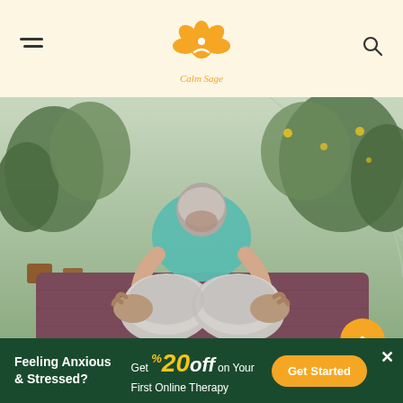Calm Sage
[Figure (photo): Person in yoga seated forward fold pose on a purple/maroon yoga mat, viewed from below showing soles of feet in grey socks. Person wearing teal/turquoise shirt with grey hair, reaching forward to grab feet. Background shows lush green greenhouse garden setting with hanging lights.]
Introduced in the 1920s, PMR is based on the assumption that physical relaxation can help heal
[Figure (infographic): Advertisement banner: dark green background. Left: 'Feeling Anxious & Stressed?' in white bold text. Middle: 'Get 20% off on Your First Online Therapy' with 20% in large yellow italic text. Right: yellow rounded button 'Get Started'. Top-right corner has an X close button.]